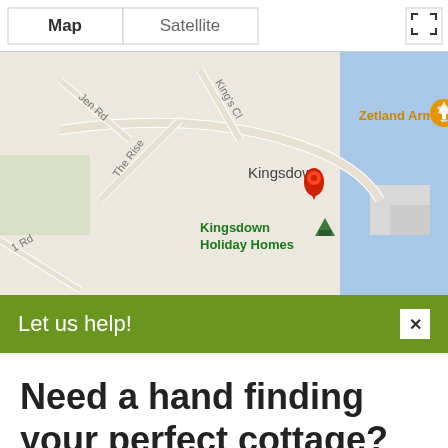[Figure (map): Google Maps showing Kingsdown area in Kent, UK. Shows street layout with labels for 'Zetland Arms' (bar marker), 'Kingsdown' text, 'Kingsdown Holiday Homes' with camping marker, a red location pin, and blue sea on the right. Map/Satellite toggle buttons visible at top.]
Let us help!
Need a hand finding your perfect cottage?
Simply fill out this form and we'll do the hard work for you.
coastline.
Kingsdown is a village close to the beach of St Margaret's Bay in Kent. The village has a number of pubs, a butcher and a general store and is situated at the northern end of the white cliffs of Dover.